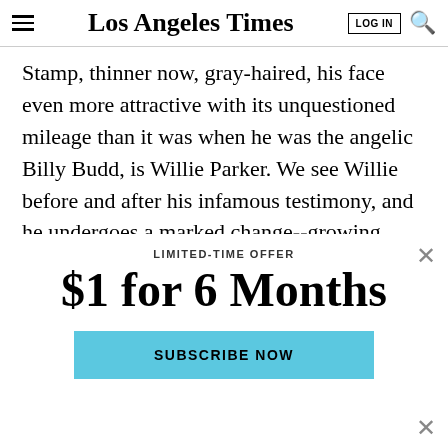Los Angeles Times
Stamp, thinner now, gray-haired, his face even more attractive with its unquestioned mileage than it was when he was the angelic Billy Budd, is Willie Parker. We see Willie before and after his infamous testimony, and he undergoes a marked change--growing from
LIMITED-TIME OFFER
$1 for 6 Months
SUBSCRIBE NOW
By continuing to use our site, you agree to our Terms of Service and Privacy Policy. You can learn more about how we use cookies by reviewing our Privacy Policy. Close